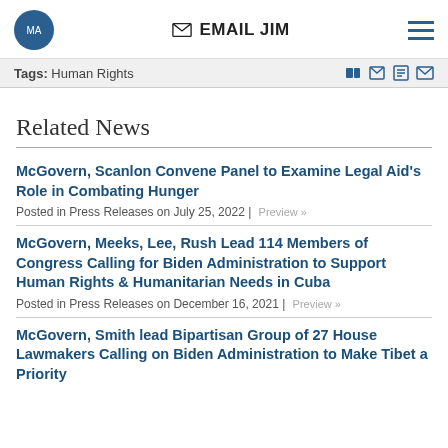EMAIL JIM
Tags: Human Rights
Related News
McGovern, Scanlon Convene Panel to Examine Legal Aid's Role in Combating Hunger
Posted in Press Releases on July 25, 2022 | Preview »
McGovern, Meeks, Lee, Rush Lead 114 Members of Congress Calling for Biden Administration to Support Human Rights & Humanitarian Needs in Cuba
Posted in Press Releases on December 16, 2021 | Preview »
McGovern, Smith lead Bipartisan Group of 27 House Lawmakers Calling on Biden Administration to Make Tibet a Priority